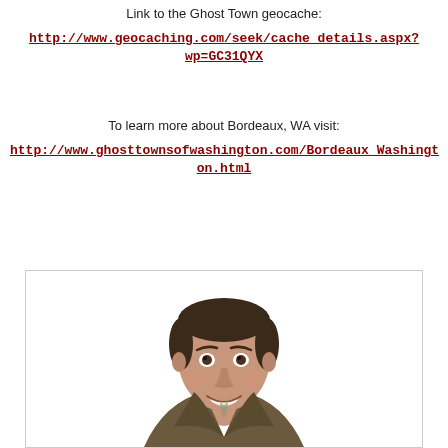Link to the Ghost Town geocache:
http://www.geocaching.com/seek/cache_details.aspx?wp=GC31QYX
To learn more about Bordeaux, WA visit:
http://www.ghosttownsofwashington.com/Bordeaux_Washington.html
[Figure (illustration): Illustrated cartoon portrait of a smiling man with dark hair, wearing a dark olive/brown jacket, shown from the shoulders up on a white background with a light border.]